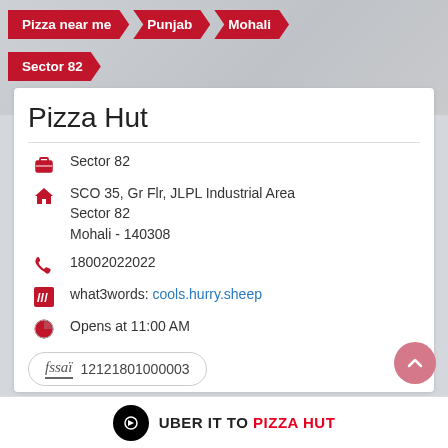Pizza near me > Punjab > Mohali
Sector 82
Pizza Hut
Sector 82
SCO 35, Gr Flr, JLPL Industrial Area
Sector 82
Mohali - 140308
18002022022
what3words: cools.hurry.sheep
Opens at 11:00 AM
fssai 12121801000003
UBER IT TO PIZZA HUT